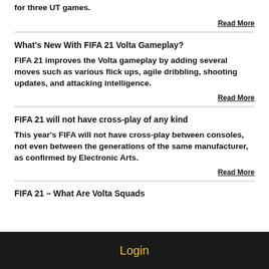for three UT games.
Read More
What's New With FIFA 21 Volta Gameplay?
FIFA 21 improves the Volta gameplay by adding several moves such as various flick ups, agile dribbling, shooting updates, and attacking intelligence.
Read More
FIFA 21 will not have cross-play of any kind
This year's FIFA will not have cross-play between consoles, not even between the generations of the same manufacturer, as confirmed by Electronic Arts.
Read More
FIFA 21 – What Are Volta Squads
Login